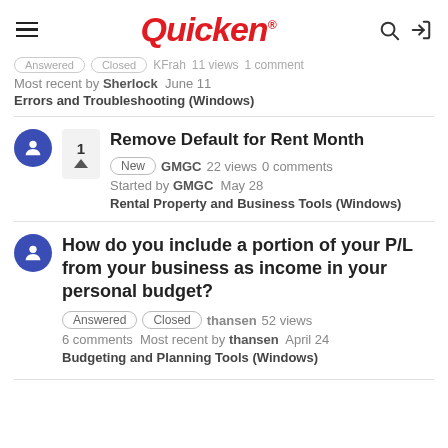Quicken
Answered  Closed  KFrah  11 views  1 comment
Most recent by Sherlock  June 11
Errors and Troubleshooting (Windows)
Remove Default for Rent Month
New  GMGC  22 views  0 comments
Started by GMGC  May 28
Rental Property and Business Tools (Windows)
How do you include a portion of your P/L from your business as income in your personal budget?
Answered  Closed  thansen  52 views  6 comments  Most recent by thansen  April 24
Budgeting and Planning Tools (Windows)